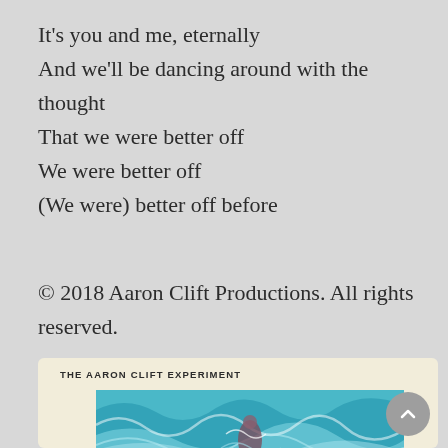It's you and me, eternally
And we'll be dancing around with the thought
That we were better off
We were better off
(We were) better off before
© 2018 Aaron Clift Productions. All rights reserved.
[Figure (screenshot): Album card for The Aaron Clift Experiment showing album artwork with swirling blue and teal waves with a figure, on a cream/beige background. A grey scroll-to-top button is visible in the lower right corner.]